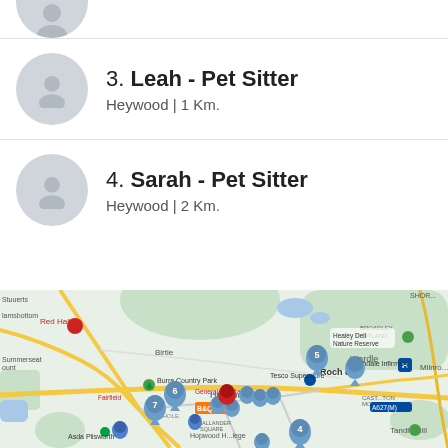[Figure (other): Partial avatar icon at top of page (cropped)]
3. Leah - Pet Sitter
Heywood | 1 Km.
4. Sarah - Pet Sitter
Heywood | 2 Km.
[Figure (map): Google Maps view showing Rochdale, Bury, Heywood area with numbered pin markers (4, 5, 6, 7) indicating pet sitter locations. Landmarks include Healey Dell Nature Reserve, Rochdale Infirmary, Burra Country Park, B&Q Bury, Asda Pilsworth, Tandle Hill, Hopwood H...lege. Roads shown include A58, A56, A664, A627(M).]